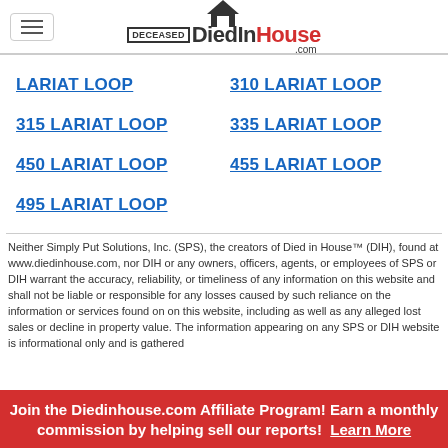DiedInHouse.com
LARIAT LOOP
310 LARIAT LOOP
315 LARIAT LOOP
335 LARIAT LOOP
450 LARIAT LOOP
455 LARIAT LOOP
495 LARIAT LOOP
Neither Simply Put Solutions, Inc. (SPS), the creators of Died in House™ (DIH), found at www.diedinhouse.com, nor DIH or any owners, officers, agents, or employees of SPS or DIH warrant the accuracy, reliability, or timeliness of any information on this website and shall not be liable or responsible for any losses caused by such reliance on the information or services found on on this website, including as well as any alleged lost sales or decline in property value. The information appearing on any SPS or DIH website is informational only and is gathered
Join the Diedinhouse.com Affiliate Program! Earn a monthly commission by helping sell our reports! Learn More